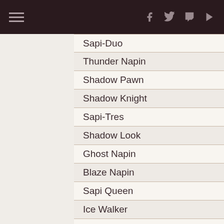☰ f 🐦 📺 ▶
Sapi-Duo
Thunder Napin
Shadow Pawn
Shadow Knight
Sapi-Tres
Shadow Look
Ghost Napin
Blaze Napin
Sapi Queen
Ice Walker
Ice Giant